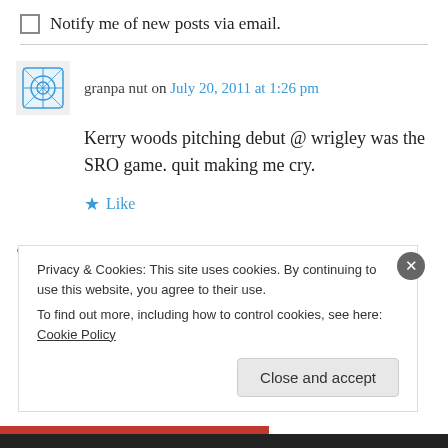Notify me of new posts via email.
granpa nut on July 20, 2011 at 1:26 pm
Kerry woods pitching debut @ wrigley was the SRO game. quit making me cry.
Like
Reply
Privacy & Cookies: This site uses cookies. By continuing to use this website, you agree to their use.
To find out more, including how to control cookies, see here: Cookie Policy